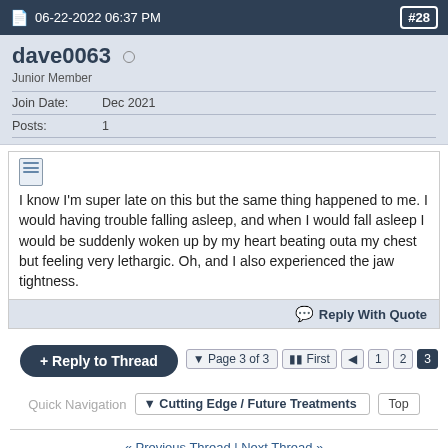06-22-2022 06:37 PM  #28
dave0063
Junior Member
| Join Date: | Dec 2021 |
| Posts: | 1 |
I know I'm super late on this but the same thing happened to me. I would having trouble falling asleep, and when I would fall asleep I would be suddenly woken up by my heart beating outa my chest but feeling very lethargic. Oh, and I also experienced the jaw tightness.
Reply With Quote
+ Reply to Thread
Page 3 of 3  First  1  2  3
Quick Navigation  Cutting Edge / Future Treatments  Top
« Previous Thread | Next Thread »